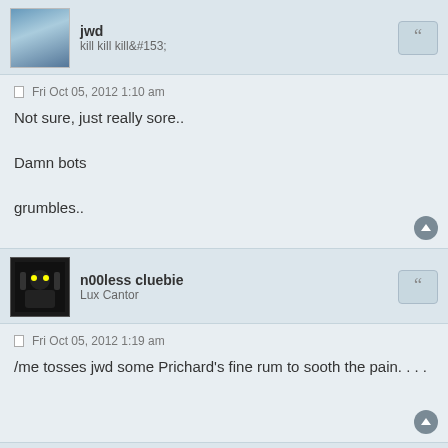jwd — kill kill kill™
Fri Oct 05, 2012 1:10 am
Not sure, just really sore..

Damn bots

grumbles..
n00less cluebie — Lux Cantor
Fri Oct 05, 2012 1:19 am
/me tosses jwd some Prichard's fine rum to sooth the pain. . . .
The Silken Knot — Lux Tiki Drinker